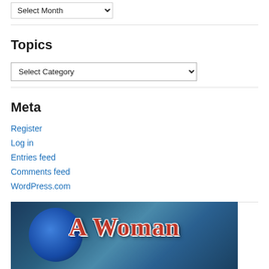Select Month
Topics
Select Category
Meta
Register
Log in
Entries feed
Comments feed
WordPress.com
[Figure (illustration): Book cover banner image with text 'A Woman' in large dark red serif font over a dark blue/teal smoky background with a blue orb on the left]